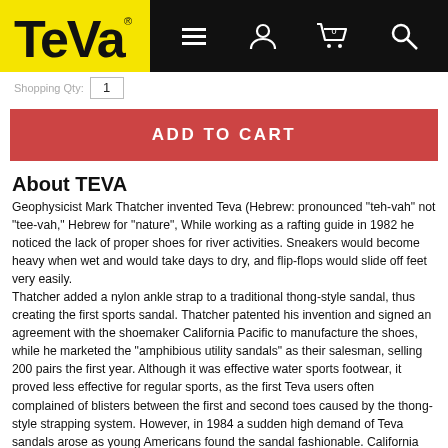[Figure (logo): Teva logo in yellow box with black navigation bar containing hamburger menu, user icon, cart icon (0), and search icon]
Shopping Qty: 1
ADD TO CART
About TEVA
Geophysicist Mark Thatcher invented Teva (Hebrew: pronounced "teh-vah" not "tee-vah," Hebrew for "nature", While working as a rafting guide in 1982 he noticed the lack of proper shoes for river activities. Sneakers would become heavy when wet and would take days to dry, and flip-flops would slide off feet very easily.
Thatcher added a nylon ankle strap to a traditional thong-style sandal, thus creating the first sports sandal. Thatcher patented his invention and signed an agreement with the shoemaker California Pacific to manufacture the shoes, while he marketed the "amphibious utility sandals" as their salesman, selling 200 pairs the first year. Although it was effective water sports footwear, it proved less effective for regular sports, as the first Teva users often complained of blisters between the first and second toes caused by the thong-style strapping system. However, in 1984 a sudden high demand of Teva sandals arose as young Americans found the sandal fashionable. California Pacific then claimed rights over the Teva name and patent, stating that Thatcher was merely an employee of their company. Thatcher sued California Pacific and won his case the following year, severing links with California Pacific. He then started the Tevas company in Flagstaff, Arizona.